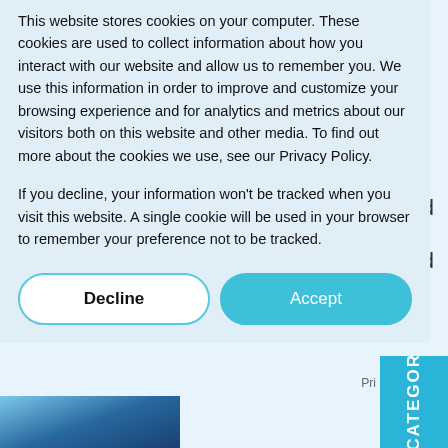This website stores cookies on your computer. These cookies are used to collect information about how you interact with our website and allow us to remember you. We use this information in order to improve and customize your browsing experience and for analytics and metrics about our visitors both on this website and other media. To find out more about the cookies we use, see our Privacy Policy.
If you decline, your information won't be tracked when you visit this website. A single cookie will be used in your browser to remember your preference not to be tracked.
[Figure (other): Two buttons: Decline (white with teal border) and Accept (teal/cyan background)]